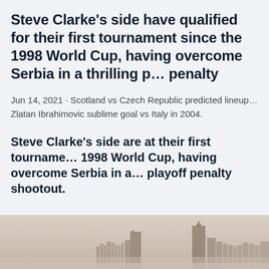Steve Clarke's side have qualified for their first tournament since the 1998 World Cup, having overcome Serbia in a thrilling playoff penalty
Jun 14, 2021 · Scotland vs Czech Republic predicted lineup... Zlatan Ibrahimovic sublime goal vs Italy in 2004.
Steve Clarke's side are at their first tournament since the 1998 World Cup, having overcome Serbia in a playoff penalty shootout.
[Figure (photo): Faded sepia-toned cityscape photo showing a city skyline with buildings in misty/foggy conditions]